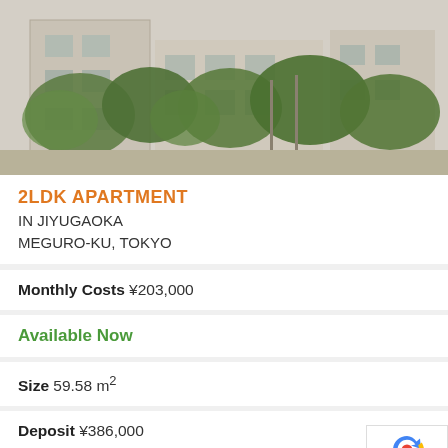[Figure (photo): Exterior photo of a concrete apartment building in Japan with lush green trees and shrubs in front, taken from street level]
2LDK APARTMENT
IN JIYUGAOKA
MEGURO-KU, TOKYO
Monthly Costs ¥203,000
Available Now
Size 59.58 m²
Deposit ¥386,000
Key Money ¥193,000
Floor 1 / 3F